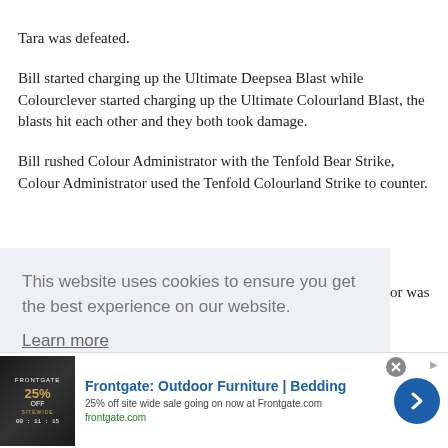Tara was defeated.
Bill started charging up the Ultimate Deepsea Blast while Colourclever started charging up the Ultimate Colourland Blast, the blasts hit each other and they both took damage.
Bill rushed Colour Administrator with the Tenfold Bear Strike, Colour Administrator used the Tenfold Colourland Strike to counter.
or was
[Figure (other): Cookie consent banner overlay: 'This website uses cookies to ensure you get the best experience on our website.' with a 'Learn more' link and a blue accept button bar.]
[Figure (other): Frontgate advertisement banner: Outdoor Furniture and Bedding, 25% off site wide sale, frontgate.com, with product image showing 25% off sitewide, blue arrow button, and close button.]